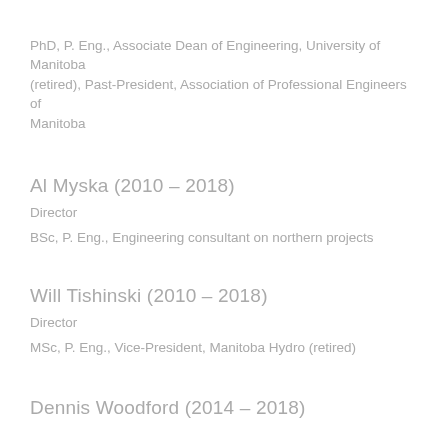PhD, P. Eng., Associate Dean of Engineering, University of Manitoba (retired), Past-President, Association of Professional Engineers of Manitoba
Al Myska (2010 – 2018)
Director
BSc, P. Eng., Engineering consultant on northern projects
Will Tishinski (2010 – 2018)
Director
MSc, P. Eng., Vice-President, Manitoba Hydro (retired)
Dennis Woodford (2014 – 2018)